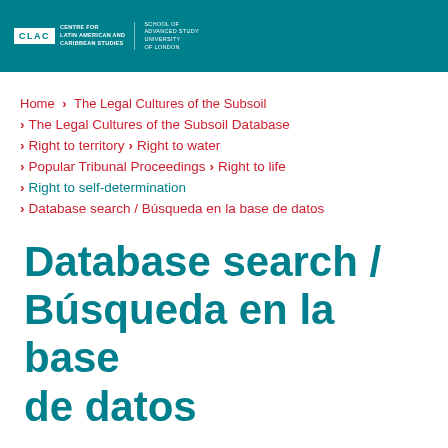[Figure (logo): CLAC Centre for Latin American and Caribbean Studies, School of Advanced Study, University of London logo on teal header bar]
Home › The Legal Cultures of the Subsoil
› The Legal Cultures of the Subsoil Database
› Right to territory › Right to water
› Popular Tribunal Proceedings › Right to life
› Right to self-determination
› Database search / Búsqueda en la base de datos
Database search / Búsqueda en la base de datos